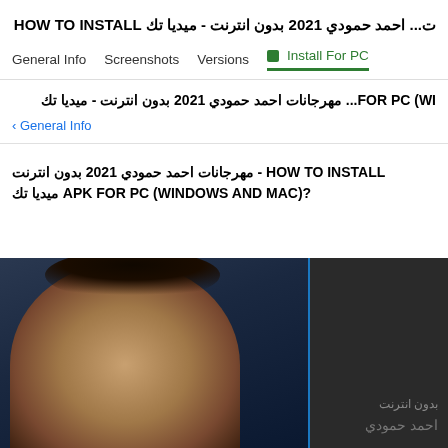ت... احمد حمودي 2021 بدون انترنت - ميديا تك HOW TO INSTALL
General Info   Screenshots   Versions   🟩 Install For PC
FOR PC (WI... مهرجانات احمد حمودي 2021 بدون انترنت - ميديا تك
‹ General Info
مهرجانات احمد حمودي 2021 بدون انترنت - HOW TO INSTALL ميديا تك APK FOR PC (WINDOWS AND MAC)?
[Figure (photo): Screenshot showing a young person's face on the left half with a blue divider and dark panel on the right with Arabic text 'بدون انترنت' and 'احمد حمودي']